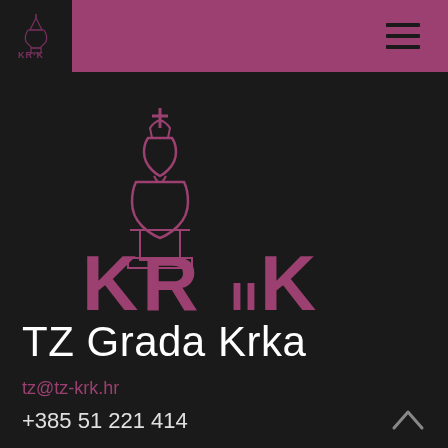[Figure (logo): KRK tourism logo in header bar - small white church steeple icon with KRK text]
[Figure (logo): Large KRK tourism logo - mauve/pink church dome silhouette above stylized KRK lettering on dark background]
TZ Grada Krka
tz@tz-krk.hr
+385 51 221 414